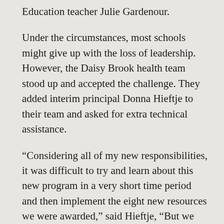Education teacher Julie Gardenour.
Under the circumstances, most schools might give up with the loss of leadership. However, the Daisy Brook health team stood up and accepted the challenge. They added interim principal Donna Hieftje to their team and asked for extra technical assistance.
“Considering all of my new responsibilities, it was difficult to try and learn about this new program in a very short time period and then implement the eight new resources we were awarded,” said Hieftje, “But we knew our students needed this, and we just committed the extra time for them.”
We have already seen so many positive